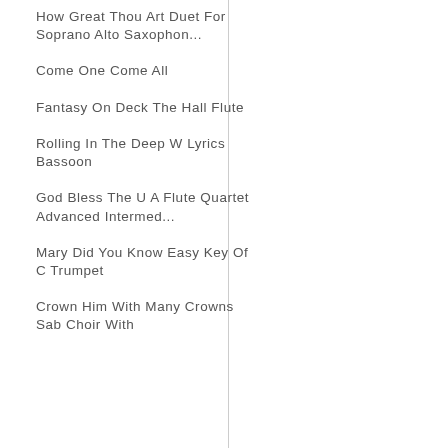How Great Thou Art Duet For Soprano Alto Saxophon...
Come One Come All
Fantasy On Deck The Hall Flute
Rolling In The Deep W Lyrics Bassoon
God Bless The U A Flute Quartet Advanced Intermed...
Mary Did You Know Easy Key Of C Trumpet
Crown Him With Many Crowns Sab Choir With